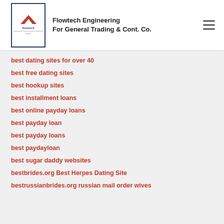Flowtech Engineering For General Trading & Cont. Co.
best dating sites for over 40
best free dating sites
best hookup sites
best installment loans
best online payday loans
best payday loan
best payday loans
best paydayloan
best sugar daddy websites
bestbrides.org Best Herpes Dating Site
bestrussianbrides.org russian mail order wives